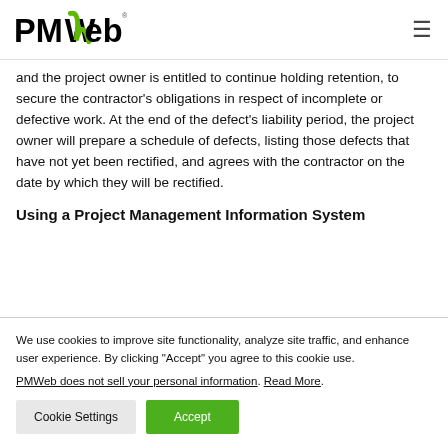PMWeb logo and navigation
and the project owner is entitled to continue holding retention, to secure the contractor's obligations in respect of incomplete or defective work. At the end of the defect's liability period, the project owner will prepare a schedule of defects, listing those defects that have not yet been rectified, and agrees with the contractor on the date by which they will be rectified.
Using a Project Management Information System
We use cookies to improve site functionality, analyze site traffic, and enhance user experience. By clicking "Accept" you agree to this cookie use.
PMWweb does not sell your personal information. Read More.